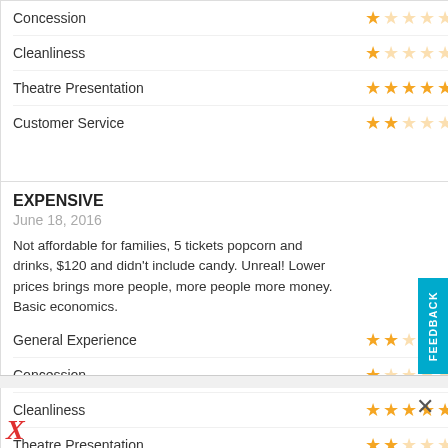Concession — 1/5 stars
Cleanliness — 1/5 stars
Theatre Presentation — 5/5 stars
Customer Service — 2/5 stars
EXPENSIVE
June 18, 2016
Not affordable for families, 5 tickets popcorn and drinks, $120 and didn't include candy. Unreal! Lower prices brings more people, more people more money. Basic economics.
General Experience — 2/5 stars
Concession — 1/5 stars
Cleanliness — 5/5 stars
Theatre Presentation — 2/5 stars
Customer Service — 2/5 stars